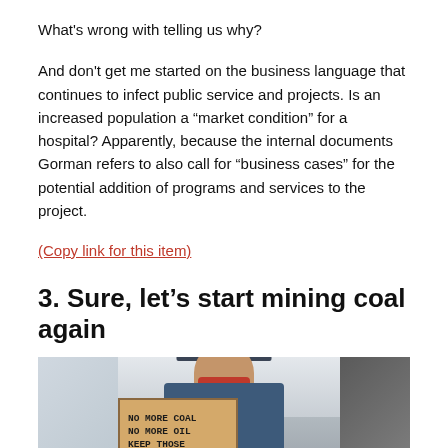What's wrong with telling us why?
And don't get me started on the business language that continues to infect public service and projects. Is an increased population a “market condition” for a hospital? Apparently, because the internal documents Gorman refers to also call for “business cases” for the potential addition of programs and services to the project.
(Copy link for this item)
3. Sure, let’s start mining coal again
[Figure (photo): A person wearing a blue cap and colorful floral mask holding a cardboard sign that reads 'NO MORE COAL NO MORE OIL KEEP THOSE FOSSILS [partially visible text]']